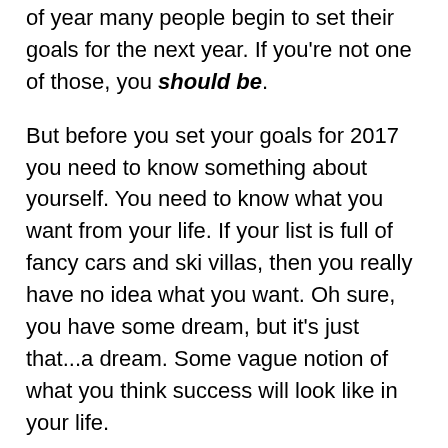of year many people begin to set their goals for the next year. If you're not one of those, you should be.
But before you set your goals for 2017 you need to know something about yourself. You need to know what you want from your life. If your list is full of fancy cars and ski villas, then you really have no idea what you want. Oh sure, you have some dream, but it's just that...a dream. Some vague notion of what you think success will look like in your life.
It's time to check out of that dream and come back to reality where you can set some meaningful goals. You do this by establishing the 4 Quadrants